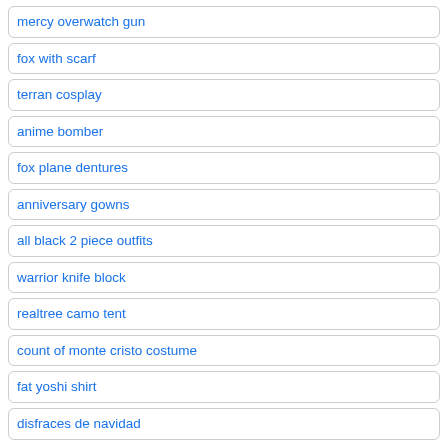mercy overwatch gun
fox with scarf
terran cosplay
anime bomber
fox plane dentures
anniversary gowns
all black 2 piece outfits
warrior knife block
realtree camo tent
count of monte cristo costume
fat yoshi shirt
disfraces de navidad